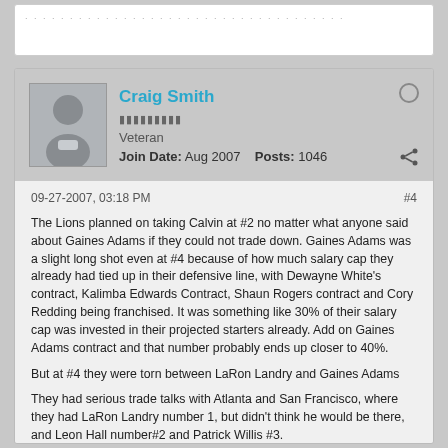Craig Smith
Veteran
Join Date: Aug 2007    Posts: 1046
09-27-2007, 03:18 PM
#4
The Lions planned on taking Calvin at #2 no matter what anyone said about Gaines Adams if they could not trade down. Gaines Adams was a slight long shot even at #4 because of how much salary cap they already had tied up in their defensive line, with Dewayne Whiteâ€™s contract, Kalimba Edwards Contract, Shaun Rogers contract and Cory Redding being franchised. It was something like 30% of their salary cap was invested in their projected starters already. Add on Gaines Adams contract and that number probably ends up closer to 40%.
But at #4 they were torn between LaRon Landry and Gaines Adams
They had serious trade talks with Atlanta and San Francisco, where they had LaRon Landry number 1, but didnâ€™t think he would be there, and Leon Hall number#2 and Patrick Willis #3.
By the way Atlanta did offer Detroit its 1st,2nd, both 3rds and a 2nd in 08 to move up for Calvin Johnson. Detroit rejected and countered with 1st, both 2nds, 3rd and next years 2nd. Atlanta rejected and trade talks ended.